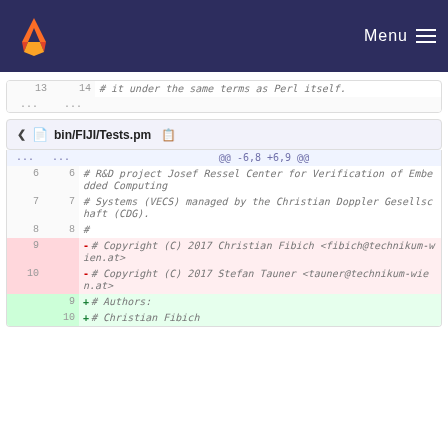Menu
| old | new | code |
| --- | --- | --- |
| 13 | 14 | # it under the same terms as Perl itself. |
| ... | ... |  |
bin/FIJI/Tests.pm
| old | new | code |
| --- | --- | --- |
| ... | ... | @@ -6,8 +6,9 @@ |
| 6 | 6 | # R&D project Josef Ressel Center for Verification of Embedded Computing |
| 7 | 7 | # Systems (VECS) managed by the Christian Doppler Gesellschaft (CDG). |
| 8 | 8 | # |
| 9 |  | - # Copyright (C) 2017 Christian Fibich <fibich@technikum-wien.at> |
| 10 |  | - # Copyright (C) 2017 Stefan Tauner <tauner@technikum-wien.at> |
|  | 9 | + # Authors: |
|  | 10 | + # Christian Fibich |